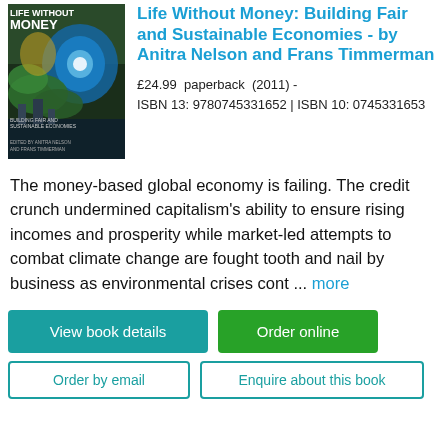[Figure (photo): Book cover of 'Life Without Money: Building Fair and Sustainable Economies' edited by Anitra Nelson and Frans Timmerman, showing a blue flower and cityscape]
Life Without Money: Building Fair and Sustainable Economies - by Anitra Nelson and Frans Timmerman
£24.99  paperback  (2011) - ISBN 13: 9780745331652 | ISBN 10: 0745331653
The money-based global economy is failing. The credit crunch undermined capitalism's ability to ensure rising incomes and prosperity while market-led attempts to combat climate change are fought tooth and nail by business as environmental crises cont ... more
View book details
Order online
Order by email
Enquire about this book